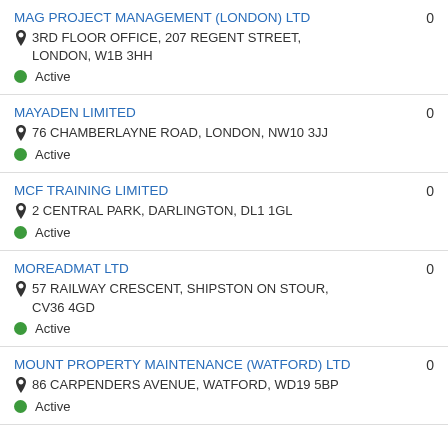MAG PROJECT MANAGEMENT (LONDON) LTD | 3RD FLOOR OFFICE, 207 REGENT STREET, LONDON, W1B 3HH | Active | 0
MAYADEN LIMITED | 76 CHAMBERLAYNE ROAD, LONDON, NW10 3JJ | Active | 0
MCF TRAINING LIMITED | 2 CENTRAL PARK, DARLINGTON, DL1 1GL | Active | 0
MOREADMAT LTD | 57 RAILWAY CRESCENT, SHIPSTON ON STOUR, CV36 4GD | Active | 0
MOUNT PROPERTY MAINTENANCE (WATFORD) LTD | 86 CARPENDERS AVENUE, WATFORD, WD19 5BP | Active | 0